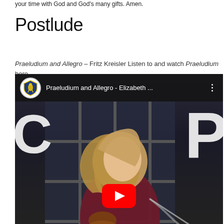your time with God and God's many gifts. Amen.
Postlude
Praeludium and Allegro – Fritz Kreisler Listen to and watch Praeludium here
[Figure (screenshot): YouTube video thumbnail showing a woman playing violin in a dark room with window panes in the background. The video title bar reads 'Praeludium and Allegro - Elizabeth ...' with a shield logo on the left. A large red YouTube play button is visible at the bottom center. Large white letters appear on either side of the frame.]